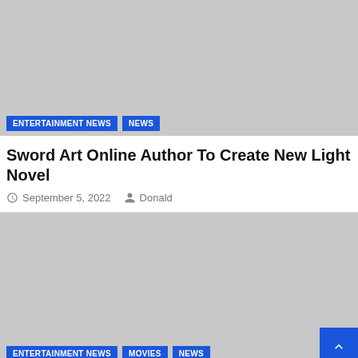[Figure (photo): Gray placeholder image for an article thumbnail with ENTERTAINMENT NEWS and NEWS tags]
ENTERTAINMENT NEWS | NEWS
Sword Art Online Author To Create New Light Novel
September 5, 2022  Donald
[Figure (photo): Gray placeholder image for a second article with ENTERTAINMENT NEWS, MOVIES, and NEWS tags]